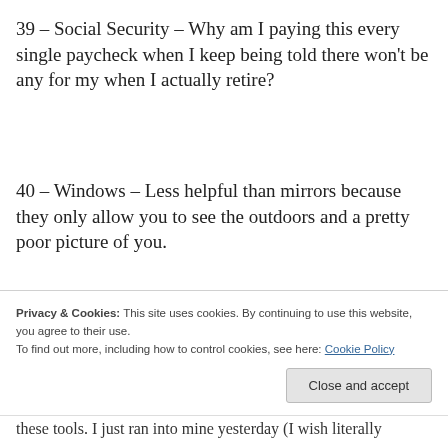39 – Social Security – Why am I paying this every single paycheck when I keep being told there won't be any for my when I actually retire?
40 – Windows – Less helpful than mirrors because they only allow you to see the outdoors and a pretty poor picture of you.
41 – (partial, clipped)
Privacy & Cookies: This site uses cookies. By continuing to use this website, you agree to their use. To find out more, including how to control cookies, see here: Cookie Policy
Close and accept
these tools. I just ran into mine yesterday (I wish literally